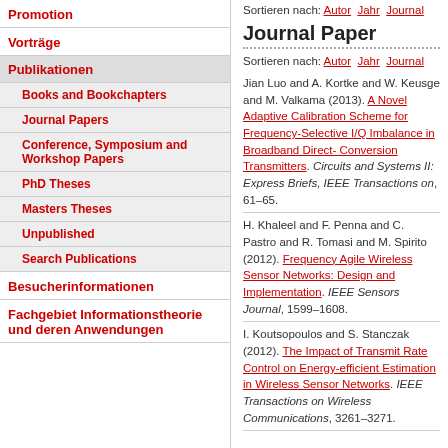Promotion
Vorträge
Publikationen
Books and Bookchapters
Journal Papers
Conference, Symposium and Workshop Papers
PhD Theses
Masters Theses
Unpublished
Search Publications
Besucherinformationen
Fachgebiet Informationstheorie und deren Anwendungen
Sortieren nach: Autor  Jahr  Journal
Journal Paper
Sortieren nach: Autor  Jahr  Journal
Jian Luo and A. Kortke and W. Keusge and M. Valkama (2013). A Novel Adaptive Calibration Scheme for Frequency-Selective I/Q Imbalance in Broadband Direct- Conversion Transmitters. Circuits and Systems II: Express Briefs, IEEE Transactions on, 61–65.
H. Khaleel and F. Penna and C. Pastro and R. Tomasi and M. Spirito (2012). Frequency Agile Wireless Sensor Networks: Design and Implementation. IEEE Sensors Journal, 1599–1608.
I. Koutsopoulos and S. Stanczak (2012). The Impact of Transmit Rate Control on Energy-efficient Estimation in Wireless Sensor Networks. IEEE Transactions on Wireless Communications, 3261–3271.